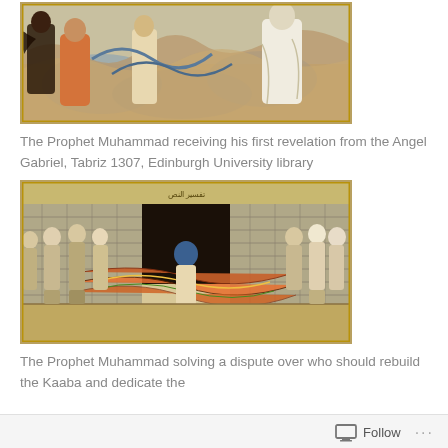[Figure (illustration): Medieval Islamic manuscript illustration showing The Prophet Muhammad receiving his first revelation from the Angel Gabriel, Tabriz 1307, Edinburgh University library — figures in robes on rocky terrain with blue swirling elements]
The Prophet Muhammad receiving his first revelation from the Angel Gabriel, Tabriz 1307, Edinburgh University library
[Figure (illustration): Medieval Islamic manuscript illustration showing The Prophet Muhammad solving a dispute over who should rebuild the Kaaba and dedicate the — figures in turbans and robes carrying a decorated cloth/carpet before a stone wall structure]
The Prophet Muhammad solving a dispute over who should rebuild the Kaaba and dedicate the
Follow